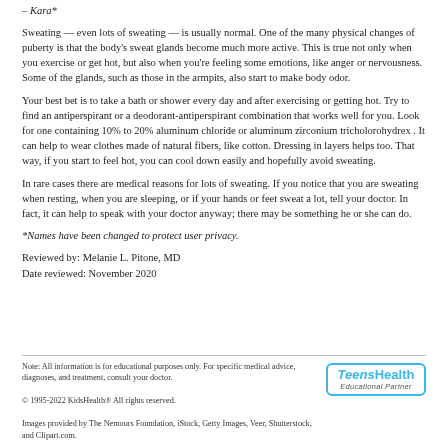– Kara*
Sweating — even lots of sweating — is usually normal. One of the many physical changes of puberty is that the body's sweat glands become much more active. This is true not only when you exercise or get hot, but also when you're feeling some emotions, like anger or nervousness. Some of the glands, such as those in the armpits, also start to make body odor.
Your best bet is to take a bath or shower every day and after exercising or getting hot. Try to find an antiperspirant or a deodorant-antiperspirant combination that works well for you. Look for one containing 10% to 20% aluminum chloride or aluminum zirconium tricholorohydrex . It can help to wear clothes made of natural fibers, like cotton. Dressing in layers helps too. That way, if you start to feel hot, you can cool down easily and hopefully avoid sweating.
In rare cases there are medical reasons for lots of sweating. If you notice that you are sweating when resting, when you are sleeping, or if your hands or feet sweat a lot, tell your doctor. In fact, it can help to speak with your doctor anyway; there may be something he or she can do.
*Names have been changed to protect user privacy.
Reviewed by: Melanie L. Pitone, MD
Date reviewed: November 2020
Note: All information is for educational purposes only. For specific medical advice, diagnoses, and treatment, consult your doctor.
© 1995-2022 KidsHealth® All rights reserved.
Images provided by The Nemours Foundation, iStock, Getty Images, Veer, Shutterstock, and Clipart.com.